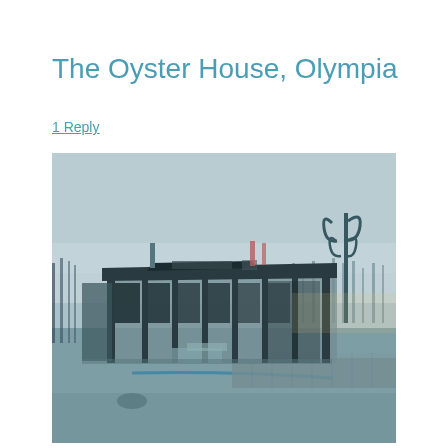The Oyster House, Olympia
1 Reply
[Figure (photo): Photograph of an abandoned or demolished building (The Oyster House) in Olympia, with a cool blue-teal tinted filter. The structure shows exposed concrete columns and a partially collapsed roof. Decorative street lamps are visible on the right. The image has a dusk or overcast sky in the background with a flat parking area in the foreground and a low stone wall.]